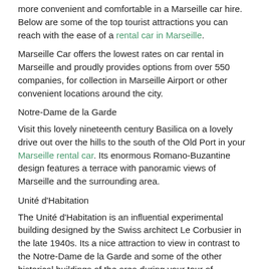more convenient and comfortable in a Marseille car hire. Below are some of the top tourist attractions you can reach with the ease of a rental car in Marseille.
Marseille Car offers the lowest rates on car rental in Marseille and proudly provides options from over 550 companies, for collection in Marseille Airport or other convenient locations around the city.
Notre-Dame de la Garde
Visit this lovely nineteenth century Basilica on a lovely drive out over the hills to the south of the Old Port in your Marseille rental car. Its enormous Romano-Buzantine design features a terrace with panoramic views of Marseille and the surrounding area.
Unité d'Habitation
The Unité d'Habitation is an influential experimental building designed by the Swiss architect Le Corbusier in the late 1940s. Its a nice attraction to view in contrast to the Notre-Dame de la Garde and some of the other historical buildings of the area during your tour of Marseille.